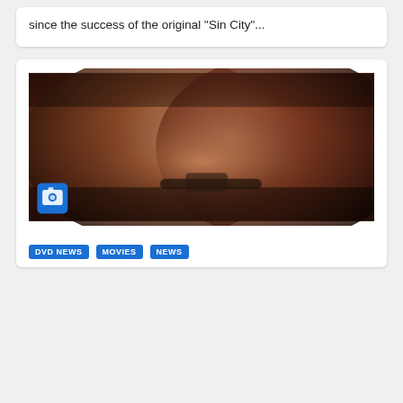since the success of the original “Sin City”...
[Figure (photo): Two men in a tense confrontation scene from a movie; one older man with grey hair and beard holds a revolver to the mouth of a younger man whose face is bloody. The younger man appears to be in distress. A blue camera icon overlay appears in the bottom-left corner of the image.]
DVD NEWS
MOVIES
NEWS